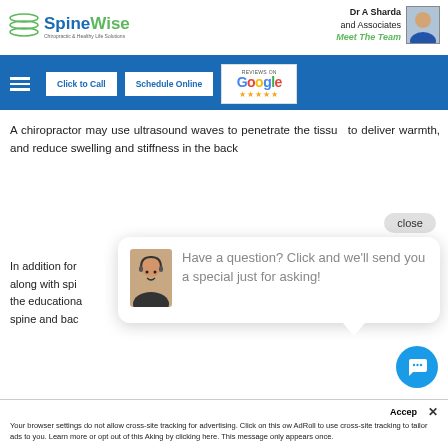SpineWise — Dr A Sharda and Associates — Meet The Team
[Figure (screenshot): SpineWise website logo with navigation bar including Click to Call, Schedule Online, and Google reviews buttons]
A chiropractor may use ultrasound waves to penetrate the tissue to deliver warmth, and reduce swelling and stiffness in the back
In addition for... along with spi... the educationa... spine and bac...  ...sour ...atie ...of t
[Figure (screenshot): Chat popup bubble with female avatar and text: Have a question? Click and we'll send you a special just for asking! with close button above]
Accept × Your browser settings do not allow cross-site tracking for advertising. Click on this... ow AdRoll to use cross-site tracking to tailor ads to you. Learn more or opt out of this A...king by clicking here. This message only appears once.